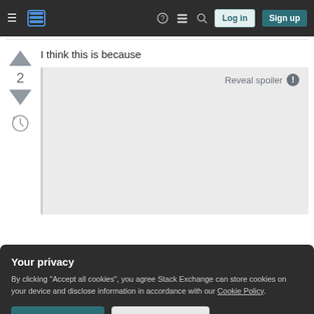[Figure (screenshot): Stack Exchange navigation bar with hamburger menu, logo, help icon, inbox icon, search icon, Log in and Sign up buttons]
I think this is because
[Figure (screenshot): Spoiler box with 'Reveal spoiler' button and warning icon, content hidden]
Your privacy
By clicking "Accept all cookies", you agree Stack Exchange can store cookies on your device and disclose information in accordance with our Cookie Policy.
Accept all cookies
Customize settings